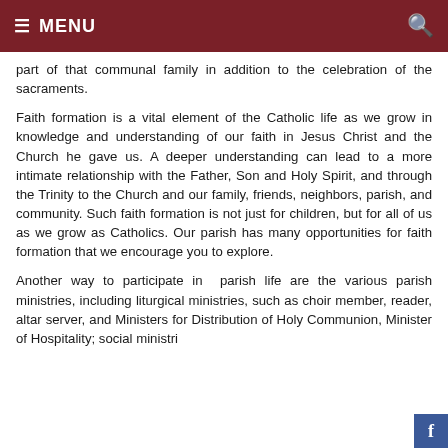≡ MENU 🔍
part of that communal family in addition to the celebration of the sacraments.
Faith formation is a vital element of the Catholic life as we grow in knowledge and understanding of our faith in Jesus Christ and the Church he gave us. A deeper understanding can lead to a more intimate relationship with the Father, Son and Holy Spirit, and through the Trinity to the Church and our family, friends, neighbors, parish, and community. Such faith formation is not just for children, but for all of us as we grow as Catholics. Our parish has many opportunities for faith formation that we encourage you to explore.
Another way to participate in parish life are the various parish ministries, including liturgical ministries, such as choir member, reader, altar server, and Ministers for Distribution of Holy Communion, Minister of Hospitality; social ministri